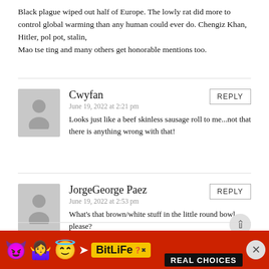Black plague wiped out half of Europe. The lowly rat did more to control global warming than any human could ever do. Chengiz Khan, Hitler, pol pot, stalin,
Mao tse ting and many others get honorable mentions too.
Cwyfan
June 19, 2022 at 2:21 pm
Looks just like a beef skinless sausage roll to me...not that there is anything wrong with that!
JorgeGeorge Paez
June 19, 2022 at 2:53 pm
What's that brown/white stuff in the little round bowl please?
Matthew Klint